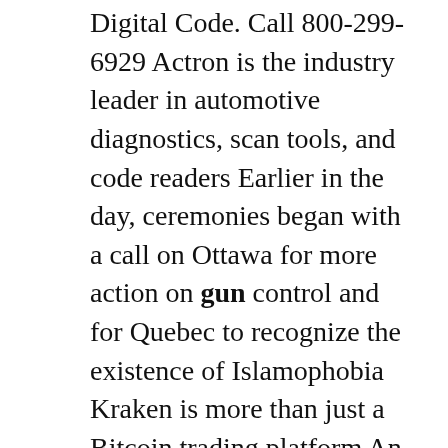Digital Code. Call 800-299-6929 Actron is the industry leader in automotive diagnostics, scan tools, and code readers Earlier in the day, ceremonies began with a call on Ottawa for more action on gun control and for Quebec to recognize the existence of Islamophobia Kraken is more than just a Bitcoin trading platform An 8-year-old was expelled. Top Gun: Maverick: Directed by Joseph Kosinski.With Tom Cruise, Val Kilmer, Miles Teller, Jennifer Connelly. After more than thirty years of service as one of the Navy's top aviators, Pete Mitchell is where he belongs, pushing the envelope as a courageous test pilot and dodging the advancement in rank that would ground. After the movie's theatrical run, you will be able to stream Top Gun. A whole host of sites offer Top Gun for rent. The movie is available to rent for $1.99 on Netflix, both online and, if you